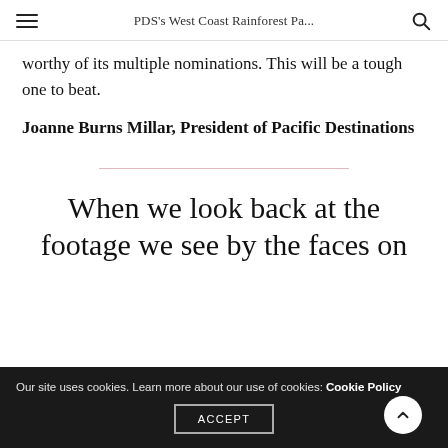PDS's West Coast Rainforest Pa...
worthy of its multiple nominations. This will be a tough one to beat.
Joanne Burns Millar, President of Pacific Destinations
When we look back at the footage we see by the faces on
Our site uses cookies. Learn more about our use of cookies: Cookie Policy